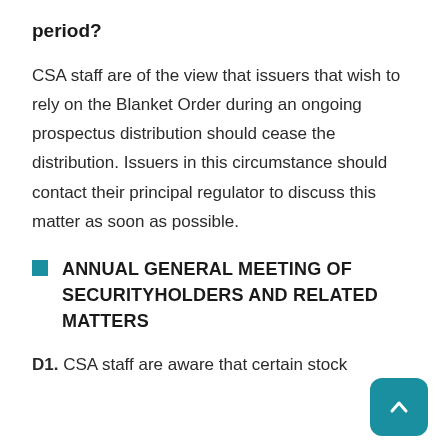period?
CSA staff are of the view that issuers that wish to rely on the Blanket Order during an ongoing prospectus distribution should cease the distribution. Issuers in this circumstance should contact their principal regulator to discuss this matter as soon as possible.
ANNUAL GENERAL MEETING OF SECURITYHOLDERS AND RELATED MATTERS
D1. CSA staff are aware that certain stock